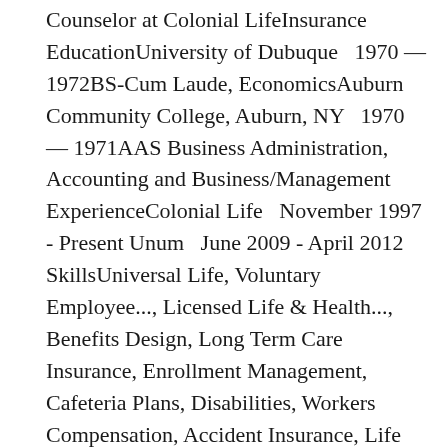Counselor at Colonial LifeInsurance EducationUniversity of Dubuque   1970 — 1972BS-Cum Laude, EconomicsAuburn Community College, Auburn, NY   1970 — 1971AAS Business Administration, Accounting and Business/Management ExperienceColonial Life   November 1997 - Present Unum   June 2009 - April 2012 SkillsUniversal Life, Voluntary Employee..., Licensed Life & Health..., Benefits Design, Long Term Care Insurance, Enrollment Management, Cafeteria Plans, Disabilities, Workers Compensation, Accident Insurance, Life Insurance, Lansing, Michigan AreaEconomic Specialist at Department of Insurance and Financial ServicesGovernment